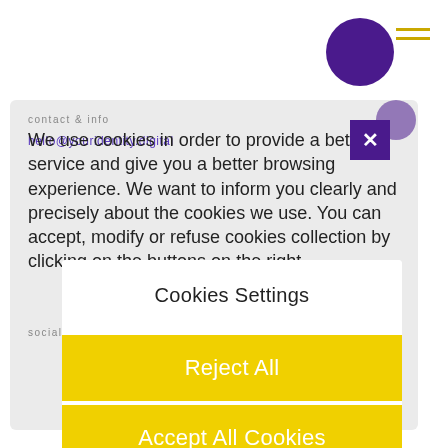[Figure (illustration): Large dark purple circle in upper area of page]
[Figure (illustration): Hamburger menu icon with two horizontal yellow/gold lines, top right]
[Figure (illustration): Small semi-transparent purple circle overlapping top-right of card]
[Figure (illustration): Dark purple close (X) button square overlapping card top-right]
contact & info
hello@youridentity.digital
We use cookies in order to provide a better service and give you a better browsing experience. We want to inform you clearly and precisely about the cookies we use. You can accept, modify or refuse cookies collection by clicking on the buttons on the right.
social media
Cookies Settings
Reject All
Accept All Cookies